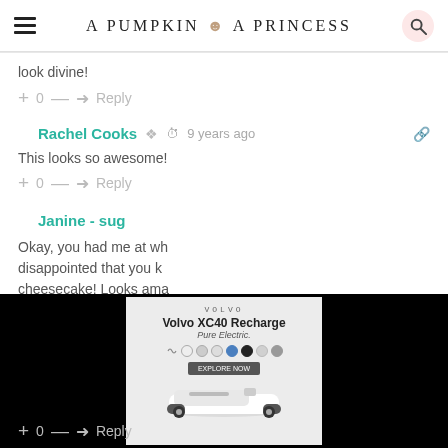A PUMPKIN & A PRINCESS
look divine!
+ 0 — ➜ Reply
Rachel Cooks  9 years ago
This looks so awesome!
+ 0 — ➜ Reply
Janine - sug…
Okay, you had me at wh… disappointed that you k… cheesecake! Looks ama…
[Figure (photo): Volvo XC40 Recharge Pure Electric advertisement overlaid on page]
+ 0 — ➜ Reply